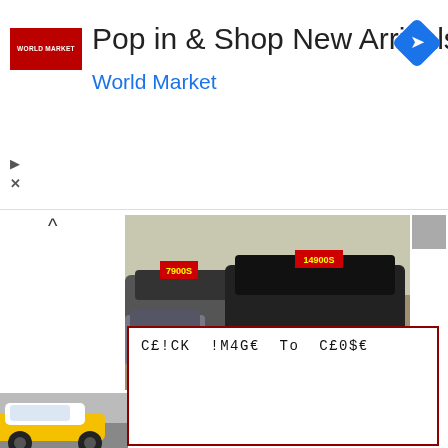[Figure (screenshot): Advertisement banner for World Market showing logo, title 'Pop in & Shop New Arrivals', subtitle 'World Market', and a blue diamond navigation icon on the right.]
[Figure (photo): Car dealership lot photo showing multiple cars with price signs reading '7900S' and '14900S' on windshields.]
[Figure (photo): Partial photo of a yellow and white convertible car on a runway or road.]
C£!CK !M4G€ To C£0$€